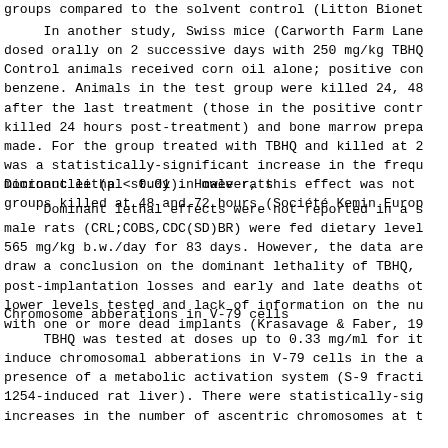groups compared to the solvent control (Litton Bionet
In another study, Swiss mice (Carworth Farm Lane dosed orally on 2 successive days with 250 mg/kg TBHQ Control animals received corn oil alone; positive con benzene. Animals in the test group were killed 24, 48 after the last treatment (those in the positive contr killed 24 hours post-treatment) and bone marrow prepa made. For the group treated with TBHQ and killed at 2 was a statistically-significant increase in the frequ micronuclei (p < 0.01). However, this effect was not groups killed at 48 and 72 hours (Société Kemin Euro
Dominant lethal study in male rats
Dominant lethal effects were not reported in a s male rats (CRL;COBS,CDC(SD)BR) were fed dietary level 565 mg/kg b.w./day for 83 days. However, the data are draw a conclusion on the dominant lethality of TBHQ, post-implantation losses and early and late deaths ot lower levels tested and lack of information on the nu with one or more dead implants (Krasavage & Faber, 19
Chromosome abberations in V-79 cells
TBHQ was tested at doses up to 0.33 mg/ml for it induce chromosomal abberations in V-79 cells in the a presence of a metabolic activation system (S-9 fracti 1254-induced rat liver). There were statistically-sig increases in the number of ascentric chromosomes at t